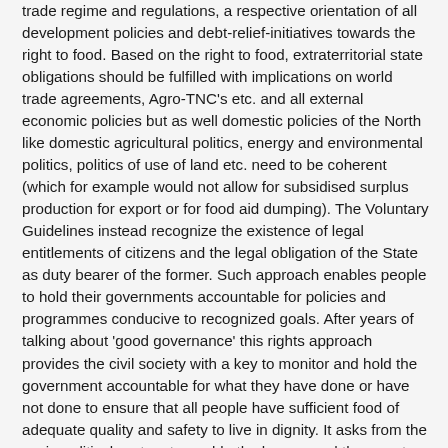trade regime and regulations, a respective orientation of all development policies and debt-relief-initiatives towards the right to food. Based on the right to food, extraterritorial state obligations should be fulfilled with implications on world trade agreements, Agro-TNC's etc. and all external economic policies but as well domestic policies of the North like domestic agricultural politics, energy and environmental politics, politics of use of land etc. need to be coherent (which for example would not allow for subsidised surplus production for export or for food aid dumping). The Voluntary Guidelines instead recognize the existence of legal entitlements of citizens and the legal obligation of the State as duty bearer of the former. Such approach enables people to hold their governments accountable for policies and programmes conducive to recognized goals. After years of talking about 'good governance' this rights approach provides the civil society with a key to monitor and hold the government accountable for what they have done or have not done to ensure that all people have sufficient food of adequate quality and safety to live in dignity. It asks from the socio-political system to enable the hungry and the poor to participate in the process of human development rather than being passive recipients of benevolent actions from the national government or international donors.